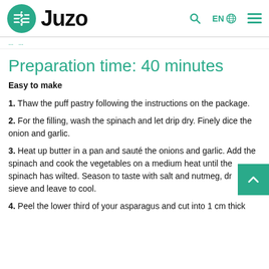Juzo — EN — Search — Menu
breadcrumb navigation
Preparation time: 40 minutes
Easy to make
1. Thaw the puff pastry following the instructions on the package.
2. For the filling, wash the spinach and let drip dry. Finely dice the onion and garlic.
3. Heat up butter in a pan and sauté the onions and garlic. Add the spinach and cook the vegetables on a medium heat until the spinach has wilted. Season to taste with salt and nutmeg, dr... in a sieve and leave to cool.
4. Peel the lower third of your asparagus and cut into 1 cm thick